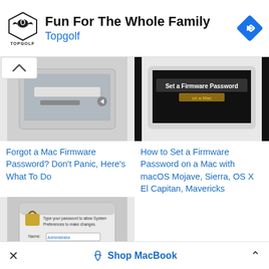[Figure (screenshot): Topgolf advertisement banner with logo showing shield/eagle icon and Topgolf text, headline 'Fun For The Whole Family', blue diamond navigation icon at right]
[Figure (screenshot): Mac laptop/device image showing a login or password entry screen with dark interface]
[Figure (screenshot): MacBook Air showing 'Set a Firmware Password' screen with dark background and yellow highlighted text]
Forgot a Mac Firmware Password? Don't Panic, Here's What To Do
How to Set a Firmware Password on a Mac with macOS Mojave, Sierra, OS X El Capitan, Mavericks
[Figure (screenshot): Mac dialog box: 'Type your password to allow System Preferences to make changes.' with Name and Password fields, Cancel and OK buttons]
Forgot Mac Password? How
Shop MacBook